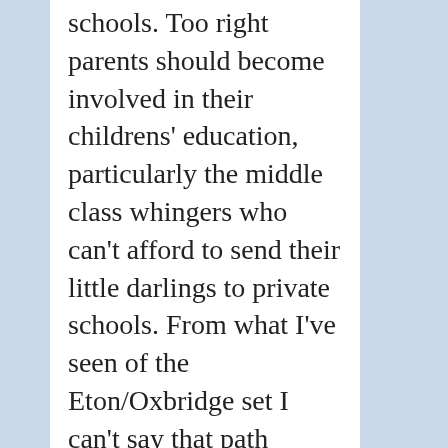schools. Too right parents should become involved in their childrens' education, particularly the middle class whingers who can't afford to send their little darlings to private schools. From what I've seen of the Eton/Oxbridge set I can't say that path provides a particularly effective education anyway. I remember my father telling me about 30 years ago that public